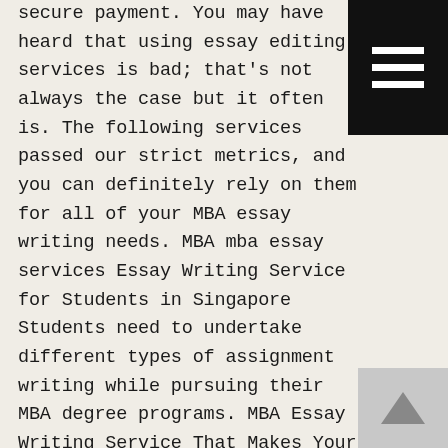secure payment. You may have heard that using essay editing services is bad; that's not always the case but it often is. The following services passed our strict metrics, and you can definitely rely on them for all of your MBA essay writing needs. MBA mba essay services Essay Writing Service for Students in Singapore Students need to undertake different types of assignment writing while pursuing their MBA degree programs. MBA Essay Writing Service That Makes Your Task a Priority Writing MBA essays is the starting point of your educational journey with this programs and courses. Custom essay writing service. Our first-rate MBA essay writing service is tailored for your specified subject concentration. If you need some help with your MBA essay, be sure to find a good editing service. holders, and the